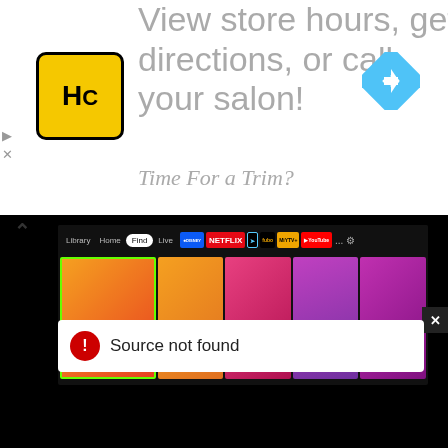[Figure (screenshot): Advertisement banner showing HC logo and text 'View store hours, get directions, or call your salon!' with a navigation diamond icon and 'Time For a Trim?' text partially visible]
[Figure (screenshot): Screenshot of Roku streaming device UI showing navigation bar with Library, Home, Find, Live tabs and streaming service icons (Disney+, Netflix, Peacock, FuboTV, MyTV+, YouTube). Below are category tiles: Search, Free, Movies, TV Shows, Appstore. Lower portion shows black screen with 'Source not found' error message in white box with red warning icon.]